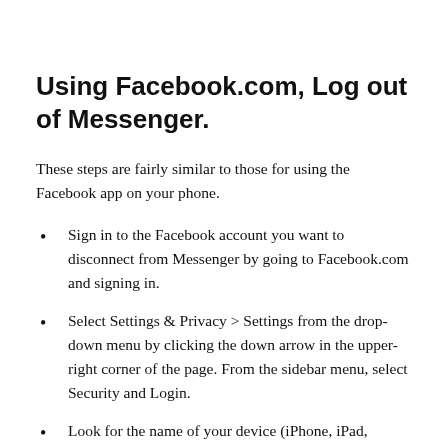Using Facebook.com, Log out of Messenger.
These steps are fairly similar to those for using the Facebook app on your phone.
Sign in to the Facebook account you want to disconnect from Messenger by going to Facebook.com and signing in.
Select Settings & Privacy > Settings from the drop-down menu by clicking the down arrow in the upper-right corner of the page. From the sidebar menu, select Security and Login.
Look for the name of your device (iPhone, iPad, Android, or other) and the Messenger label beneath it in the area called